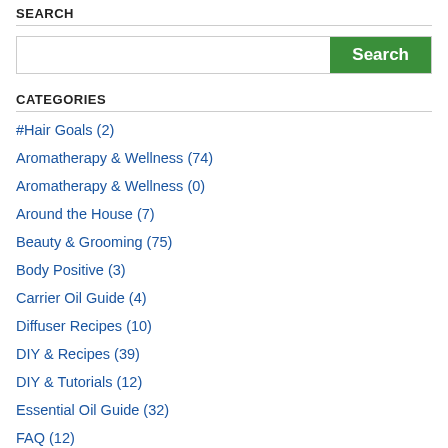SEARCH
Search
CATEGORIES
#Hair Goals (2)
Aromatherapy & Wellness (74)
Aromatherapy & Wellness (0)
Around the House (7)
Beauty & Grooming (75)
Body Positive (3)
Carrier Oil Guide (4)
Diffuser Recipes (10)
DIY & Recipes (39)
DIY & Tutorials (12)
Essential Oil Guide (32)
FAQ (12)